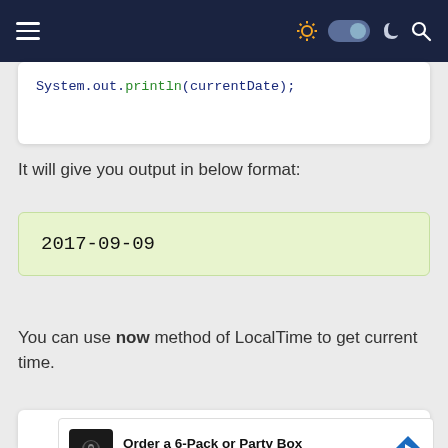[Figure (screenshot): Dark navy top navigation bar with hamburger menu on left, and sun icon, toggle switch, moon icon, search icon on right]
System.out.println(currentDate);
It will give you output in below format:
2017-09-09
You can use now method of LocalTime to get current time.
[Figure (screenshot): Advertisement: Order a 6-Pack or Party Box - Crumbl Cookies - Ashburn, with cookie logo and navigation arrow icon]